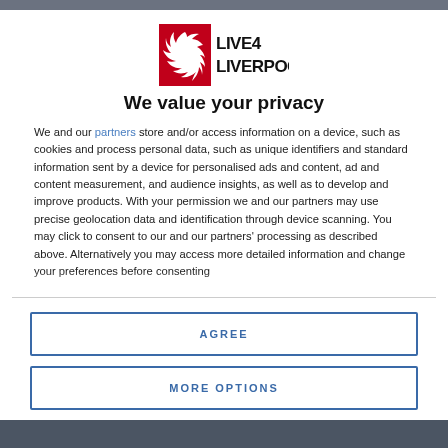[Figure (logo): Live4Liverpool logo with red phoenix emblem and bold text LIVE4 LIVERPOOL]
We value your privacy
We and our partners store and/or access information on a device, such as cookies and process personal data, such as unique identifiers and standard information sent by a device for personalised ads and content, ad and content measurement, and audience insights, as well as to develop and improve products. With your permission we and our partners may use precise geolocation data and identification through device scanning. You may click to consent to our and our partners' processing as described above. Alternatively you may access more detailed information and change your preferences before consenting
AGREE
MORE OPTIONS